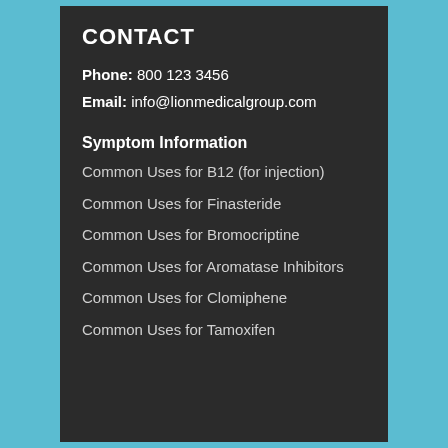CONTACT
Phone: 800 123 3456
Email: info@lionmedicalgroup.com
Symptom Information
Common Uses for B12 (for injection)
Common Uses for Finasteride
Common Uses for Bromocriptine
Common Uses for Aromatase Inhibitors
Common Uses for Clomiphene
Common Uses for Tamoxifen